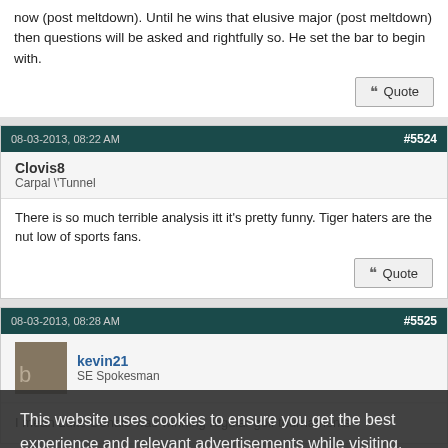now (post meltdown). Until he wins that elusive major (post meltdown) then questions will be asked and rightfully so. He set the bar to begin with.
Quote
08-03-2013, 08:22 AM
#5524
Clovis8
Carpal \Tunnel
There is so much terrible analysis itt it's pretty funny. Tiger haters are the nut low of sports fans.
Quote
08-03-2013, 08:28 AM
#5525
kevin21
SE Spokesman
I mean Luke Donald was winning regular golf tournaments
This website uses cookies to ensure you get the best experience and relevant advertisements while visiting. Learn more
Got it!